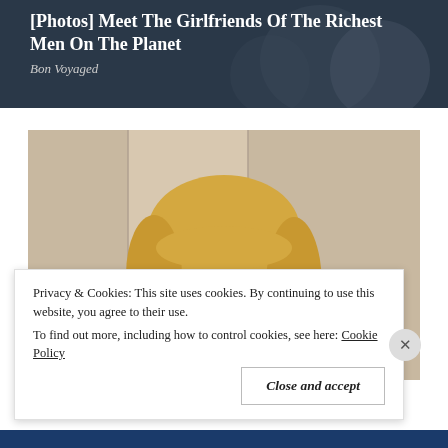[Figure (photo): Promotional card with dark background showing text '[Photos] Meet The Girlfriends Of The Richest Men On The Planet' with source 'Bon Voyaged']
[Figure (photo): Close-up photo of a young blonde toddler girl with brown eyes, wearing a light teal/mint shirt, smiling slightly at camera]
Privacy & Cookies: This site uses cookies. By continuing to use this website, you agree to their use.
To find out more, including how to control cookies, see here: Cookie Policy
Close and accept